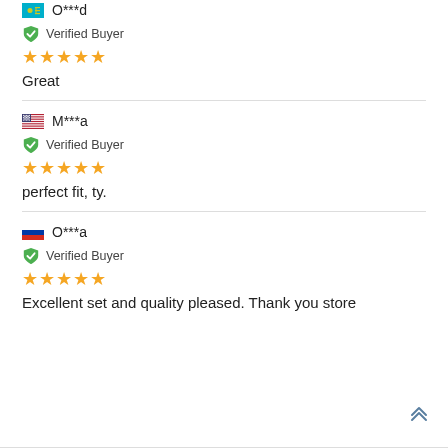O***d
Verified Buyer
★★★★★
Great
M***a
Verified Buyer
★★★★★
perfect fit, ty.
O***a
Verified Buyer
★★★★★
Excellent set and quality pleased. Thank you store